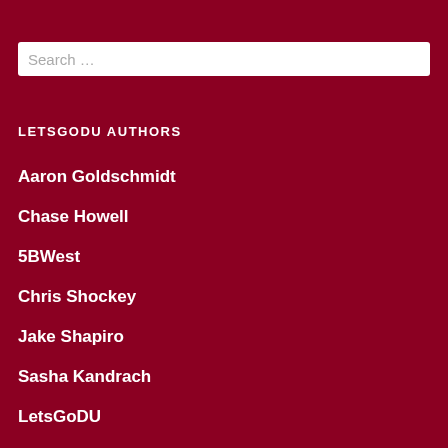Search …
LETSGODU AUTHORS
Aaron Goldschmidt
Chase Howell
5BWest
Chris Shockey
Jake Shapiro
Sasha Kandrach
LetsGoDU
Nick Tremaroli
Puck Swami